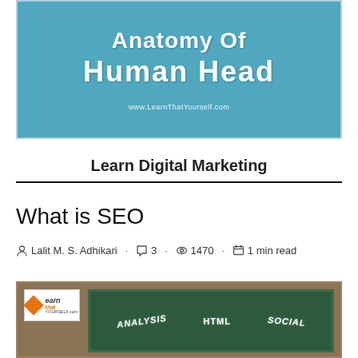[Figure (illustration): Blue banner image with white bold text 'Anatomy of Human Head' and website URL www.LearnThatYourself.com]
Learn Digital Marketing
What is SEO
Lalit M. S. Adhikari · 3 · 1470 · 1 min read
[Figure (illustration): Bottom image showing a logo for LearnThatYourself.com on the left and a dark green blackboard with chalk-written words: ANALYSIS, HTML, SOCIAL]